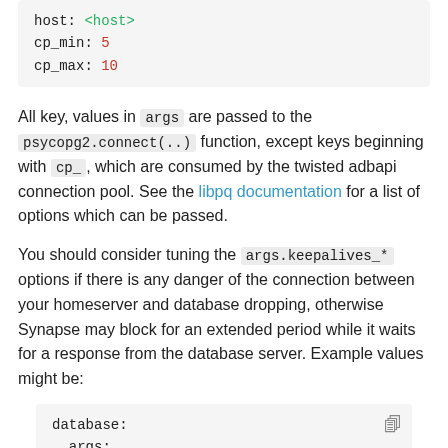[Figure (screenshot): Code block showing YAML configuration: host: <host>, cp_min: 5, cp_max: 10]
All key, values in args are passed to the psycopg2.connect(..) function, except keys beginning with cp_ , which are consumed by the twisted adbapi connection pool. See the libpq documentation for a list of options which can be passed.
You should consider tuning the args.keepalives_* options if there is any danger of the connection between your homeserver and database dropping, otherwise Synapse may block for an extended period while it waits for a response from the database server. Example values might be:
[Figure (screenshot): Code block showing YAML: database: args: # as_above]